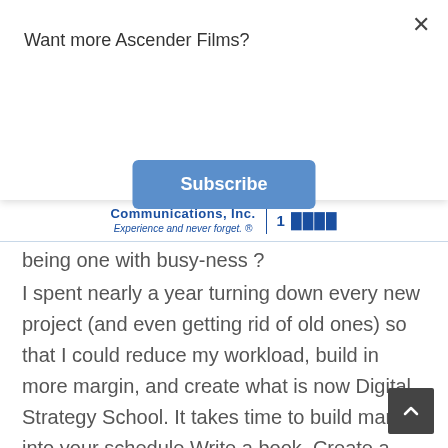Want more Ascender Films?
Subscribe
[Figure (logo): Communications Inc. logo with tagline 'Experience and never forget.']
being one with  busy-ness ?
I spent nearly a year turning down every new project (and even getting rid of old ones) so that I could reduce my workload, build in more margin, and create what is now Digital Strategy School. It takes time to build margin into your schedule.Write a book. Create a program. Update your contracts and proposals (which has been on your to-do list for how long..?) Spend more time